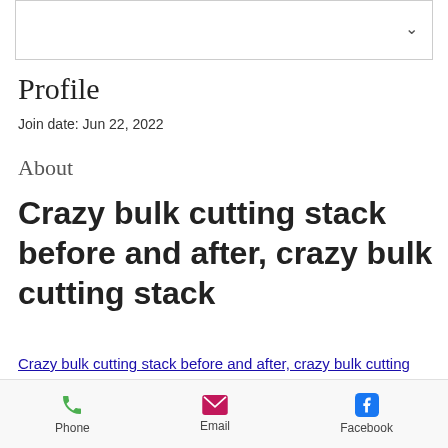[Figure (other): White box with a chevron/dropdown arrow in top right corner]
Profile
Join date: Jun 22, 2022
About
Crazy bulk cutting stack before and after, crazy bulk cutting stack
Crazy bulk cutting stack before and after, crazy bulk cutting stack - Buy anabolic steroids online
Phone   Email   Facebook